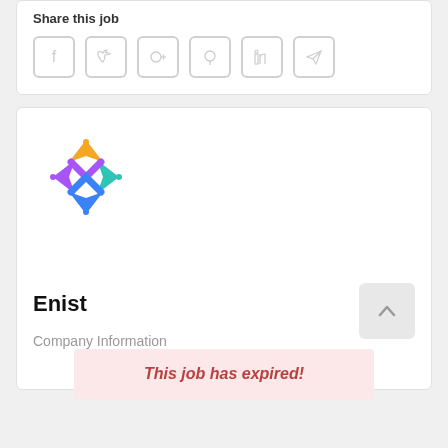Share this job
[Figure (illustration): Row of 6 social media share icons: Facebook, Twitter, Google+, Pinterest, LinkedIn, Telegram — rendered as light gray outlined rounded squares]
[Figure (logo): Enist company logo: colorful star/cross shape made of stylized people figures in yellow, teal, purple, and blue]
Enist
Company Information
This job has expired!